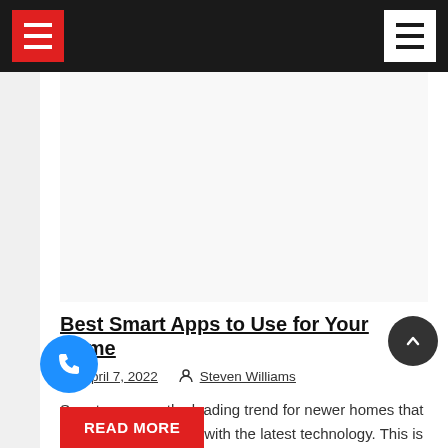Navigation bar with hamburger menus
[Figure (screenshot): Advertisement or image placeholder area, white background]
Best Smart Apps to Use for Your Home
April 7, 2022   Steven Williams
Smart apps are the leading trend for newer homes that want to be up to date with the latest technology. This is like having an edge with proper betting information omes being built today will have some sort of
READ MORE